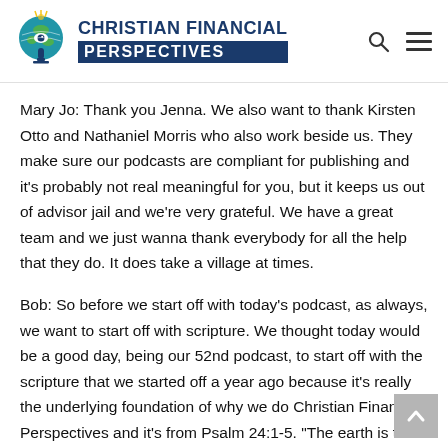CHRISTIAN FINANCIAL PERSPECTIVES
Mary Jo: Thank you Jenna. We also want to thank Kirsten Otto and Nathaniel Morris who also work beside us. They make sure our podcasts are compliant for publishing and it's probably not real meaningful for you, but it keeps us out of advisor jail and we're very grateful. We have a great team and we just wanna thank everybody for all the help that they do. It does take a village at times.
Bob: So before we start off with today's podcast, as always, we want to start off with scripture. We thought today would be a good day, being our 52nd podcast, to start off with the scripture that we started off a year ago because it's really the underlying foundation of why we do Christian Financial Perspectives and it's from Psalm 24:1-5. "The earth is the Lord's and everything in it. The world and all its people